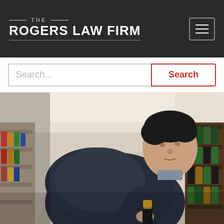THE ROGERS LAW FIRM
Search...
[Figure (photo): A man in a dark jacket leaning over a store shelf in a liquor/grocery store aisle, appearing to conceal a bottle inside his jacket, with shelves of bottles visible to the right and grocery products to the left]